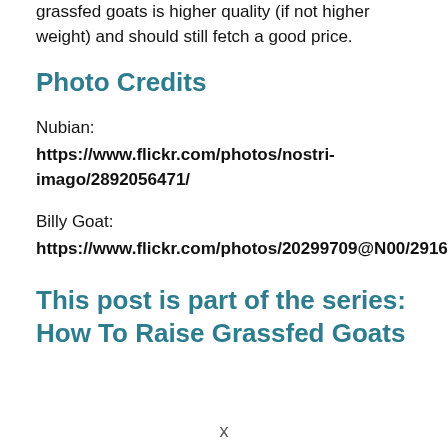grassfed goats is higher quality (if not higher weight) and should still fetch a good price.
Photo Credits
Nubian:
https://www.flickr.com/photos/nostri-imago/2892056471/
Billy Goat:
https://www.flickr.com/photos/20299709@N00/291672307/
This post is part of the series: How To Raise Grassfed Goats